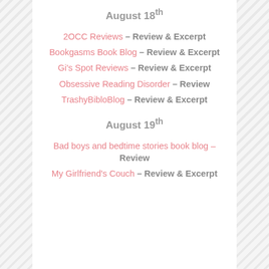August 18th
2OCC Reviews – Review & Excerpt
Bookgasms Book Blog – Review & Excerpt
Gi's Spot Reviews – Review & Excerpt
Obsessive Reading Disorder – Review
TrashyBibloBlog – Review & Excerpt
August 19th
Bad boys and bedtime stories book blog – Review
My Girlfriend's Couch – Review & Excerpt